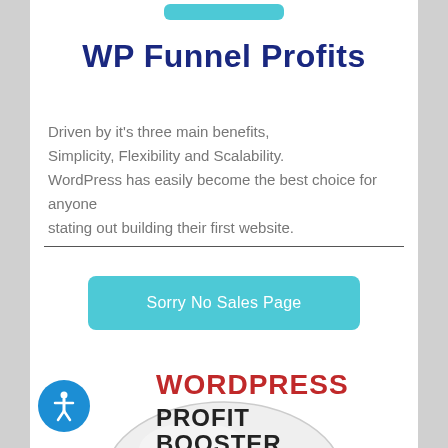[Figure (other): Teal/cyan rounded button at top, partially visible]
WP Funnel Profits
Driven by it's three main benefits,
Simplicity, Flexibility and Scalability.
WordPress has easily become the best choice for anyone stating out building their first website.
[Figure (other): Teal/cyan button labeled 'Sorry No Sales Page']
[Figure (illustration): CD/DVD disc with 'WORDPRESS PROFIT BOOSTER' text label on it, partially visible at bottom]
[Figure (other): Blue circular accessibility icon button in bottom-left corner]